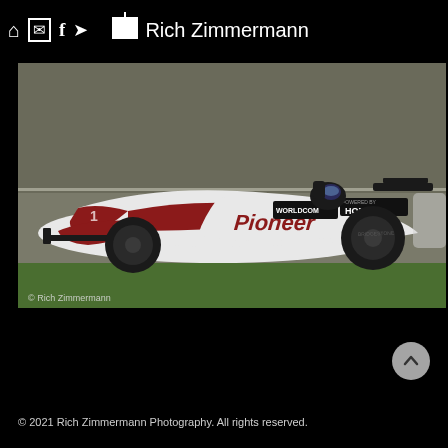⌂ ✉ f ➤  Rich Zimmermann
[Figure (photo): A red and white Pioneer/Honda-sponsored IndyCar racing car on track, with driver visible in cockpit. Car features Pioneer branding on the side and WORLDCOM/Honda logos. Watermark reads '© Rich Zimmermann' in lower left.]
© 2021 Rich Zimmermann Photography. All rights reserved.